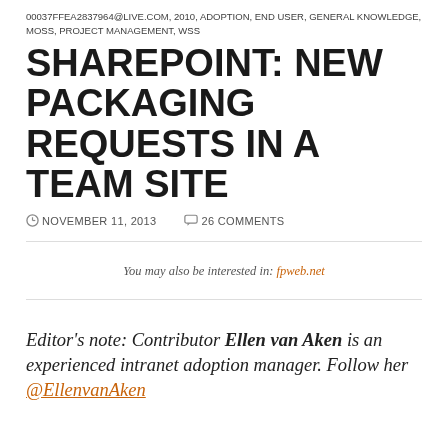00037FFEA2837964@LIVE.COM, 2010, ADOPTION, END USER, GENERAL KNOWLEDGE, MOSS, PROJECT MANAGEMENT, WSS
SHAREPOINT: NEW PACKAGING REQUESTS IN A TEAM SITE
NOVEMBER 11, 2013   26 COMMENTS
You may also be interested in: fpweb.net
Editor's note: Contributor Ellen van Aken is an experienced intranet adoption manager. Follow her @EllenvanAken